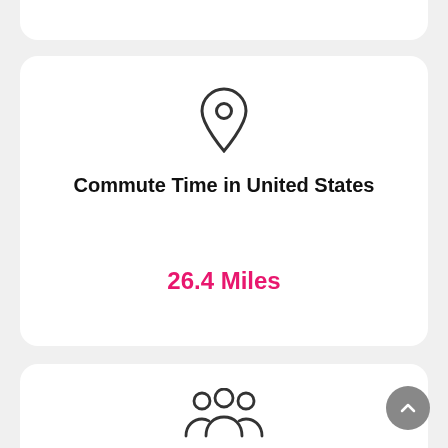[Figure (illustration): Location pin / map marker icon in dark gray outline style]
Commute Time in United States
26.4 Miles
[Figure (illustration): Group of three people / users icon in dark gray outline style]
Number of Nearest Insurance Agents in Pontiac, MI